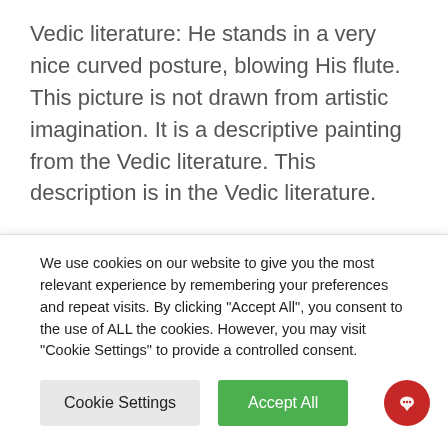Vedic literature: He stands in a very nice curved posture, blowing His flute. This picture is not drawn from artistic imagination. It is a descriptive painting from the Vedic literature. This description is in the Vedic literature.
So, in the material world there is the perverted reflection of Sri Krishna's Pastime with Radharani. It is not sex life as we have it, although it appears to be like that. It is transcendental. But that which we
We use cookies on our website to give you the most relevant experience by remembering your preferences and repeat visits. By clicking "Accept All", you consent to the use of ALL the cookies. However, you may visit "Cookie Settings" to provide a controlled consent.